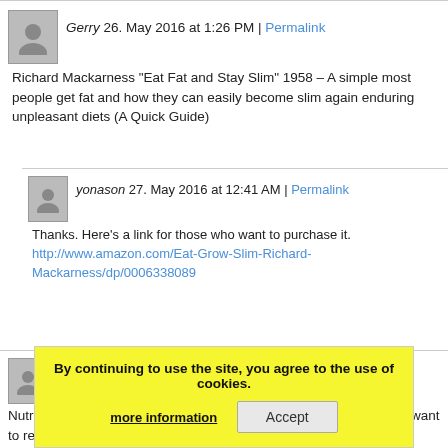Gerry 26. May 2016 at 1:26 PM | Permalink
Richard Mackarness “Eat Fat and Stay Slim” 1958 – A simple most people get fat and how they can easily become slim again enduring unpleasant diets (A Quick Guide)
yonason 27. May 2016 at 12:41 AM | Permalink
Thanks. Here’s a link for those who want to purchase it. http://www.amazon.com/Eat-Grow-Slim-Richard-Mackarness/dp/0006338089
Craig Jason 28. May 2016 at 5:40 PM | Permalink
Nutritionists may be responsible for more deaths than Hitler an you want to reduce global population by 90% or more, obesity
By continuing to use the site, you agree to the use of cookies. more information Accept